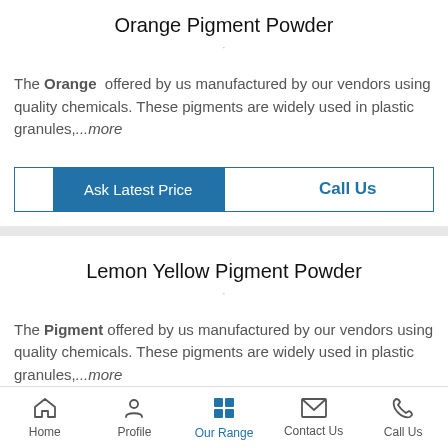Orange Pigment Powder
The Orange offered by us manufactured by our vendors using quality chemicals. These pigments are widely used in plastic granules,...more
[Figure (screenshot): Two buttons: 'Ask Latest Price' (blue fill) and 'Call Us' (blue text on white)]
Lemon Yellow Pigment Powder
The Pigment offered by us manufactured by our vendors using quality chemicals. These pigments are widely used in plastic granules,...more
[Figure (screenshot): Partial view of button row at bottom of second product card]
Home   Profile   Our Range   Contact Us   Call Us